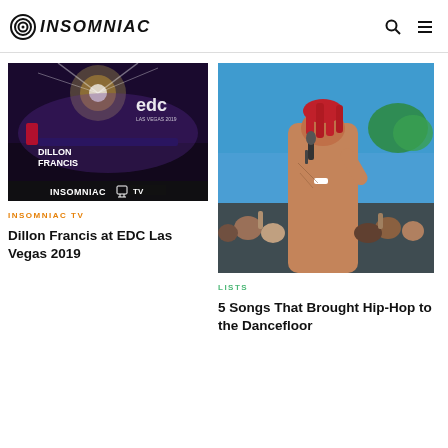INSOMNIAC
[Figure (photo): Dillon Francis performing at EDC Las Vegas 2019, stage with fireworks, Insomniac TV overlay text]
INSOMNIAC TV
Dillon Francis at EDC Las Vegas 2019
[Figure (photo): Performer singing into microphone at outdoor festival, crowd in background, blue sky]
LISTS
5 Songs That Brought Hip-Hop to the Dancefloor